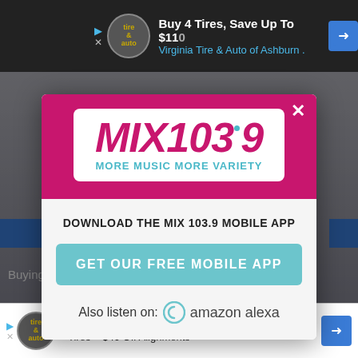[Figure (screenshot): Top advertisement banner: 'Buy 4 Tires, Save Up To $110' - Virginia Tire & Auto of Ashburn logo and text on dark background]
[Figure (logo): MIX 103.9 MORE MUSIC MORE VARIETY radio station logo in white box on magenta background]
DOWNLOAD THE MIX 103.9 MOBILE APP
GET OUR FREE MOBILE APP
Also listen on: amazon alexa
[Figure (screenshot): Bottom advertisement banner: 'Up To $110 Off Instantly on New Tires + $40 Off Alignments' - Virginia Tire & Auto ad]